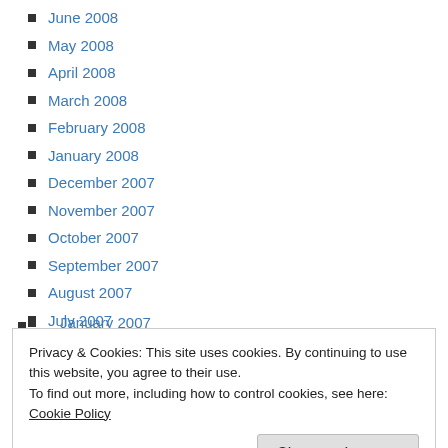June 2008
May 2008
April 2008
March 2008
February 2008
January 2008
December 2007
November 2007
October 2007
September 2007
August 2007
July 2007
June 2007
May 2007
April 2007
March 2007
February 2007
January 2007
Privacy & Cookies: This site uses cookies. By continuing to use this website, you agree to their use.
To find out more, including how to control cookies, see here: Cookie Policy
June 2006